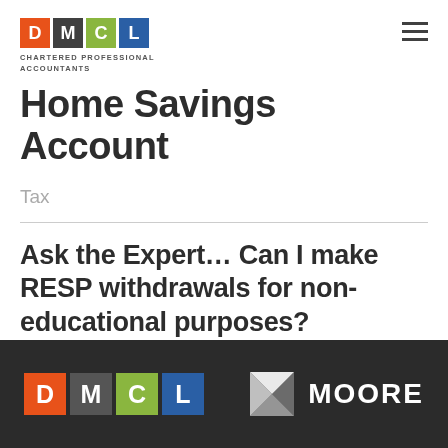[Figure (logo): DMCL Chartered Professional Accountants logo with colored letter tiles and text]
Home Savings Account
Tax
Ask the Expert... Can I make RESP withdrawals for non-educational purposes?
[Figure (logo): DMCL logo in footer on dark background alongside Moore logo]